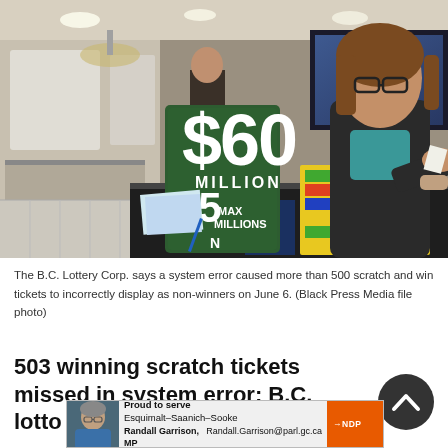[Figure (photo): Photo of a woman with glasses at a lottery counter in a mall, with a green sign showing '$60 MILLION 55 MAXMILLIONS'. Scratch tickets visible on the counter. Store interior visible in background.]
The B.C. Lottery Corp. says a system error caused more than 500 scratch and win tickets to incorrectly display as non-winners on June 6. (Black Press Media file photo)
503 winning scratch tickets missed in system error; B.C. lotto corp says check again
[Figure (other): Advertisement banner: Proud to serve Esquimalt-Saanich-Sooke, Randall Garrison, MP, Randall.Garrison@parl.gc.ca, NDP logo]